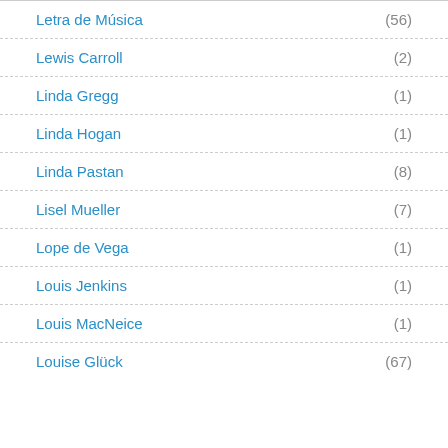Letra de Música (56)
Lewis Carroll (2)
Linda Gregg (1)
Linda Hogan (1)
Linda Pastan (8)
Lisel Mueller (7)
Lope de Vega (1)
Louis Jenkins (1)
Louis MacNeice (1)
Louise Glück (67)